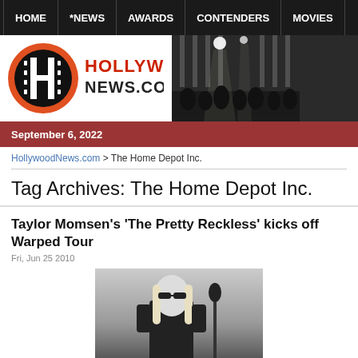HOME | *NEWS | AWARDS | CONTENDERS | MOVIES
[Figure (logo): HollywoodNews.com logo — orange circle with H silhouette, red text HOLLYWOOD NEWS.COM]
[Figure (photo): Concert/awards show audience photo, stage lighting visible]
September 6, 2022
HollywoodNews.com > The Home Depot Inc.
Tag Archives: The Home Depot Inc.
Taylor Momsen's 'The Pretty Reckless' kicks off Warped Tour
Fri, Jun 25 2010
[Figure (photo): Black and white photo of Taylor Momsen performing on stage]